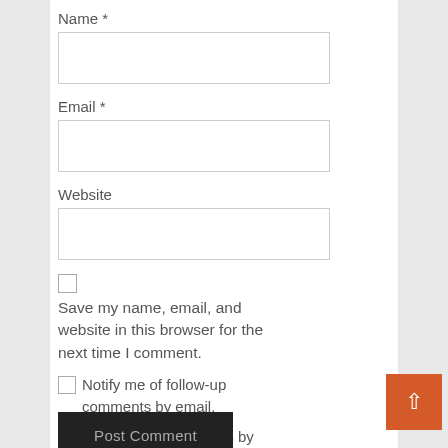Name *
Email *
Website
Save my name, email, and website in this browser for the next time I comment.
Notify me of follow-up comments by email.
Notify me of new posts by email.
Post Comment